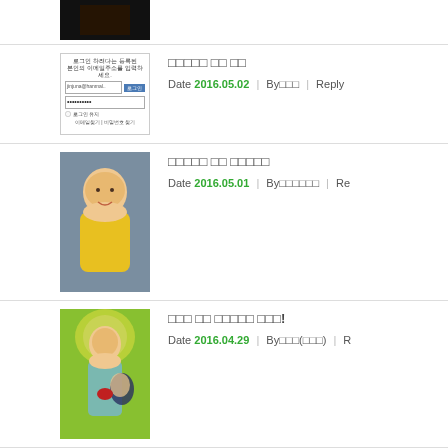[Figure (photo): Top partial thumbnail showing dark/black image]
[Figure (screenshot): Login form screenshot in Korean]
□□□□□ □□ □□
Date 2016.05.02 | By □□□ | Reply
[Figure (photo): Photo of a young child in yellow clothing]
□□□□□ □□ □□□□□
Date 2016.05.01 | By □□□□□□ | Re
[Figure (illustration): Religious illustration of Korean woman with child and halo]
□□□ □□ □□□□□ □□□!
Date 2016.04.29 | By □□□(□□□) | R
[Figure (logo): Heart-shaped logo with two yellow circles and cross]
□□□ □□
Date 2016.04.25 | By □□□(□□□) | R